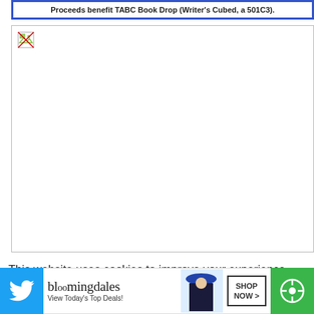Proceeds benefit TABC Book Drop (Writer's Cubed, a 501C3).
[Figure (photo): Broken/unloaded image placeholder with small broken image icon in top-left corner, white background.]
This website uses cookies to improve your experience. We'll assume you're ok with this, but you can opt-out if you wish
CLOSE
[Figure (logo): Twitter bird logo (white on blue background)]
[Figure (photo): Bloomingdale's advertisement banner: 'bloomingdales - View Today's Top Deals!' with image of woman in hat, and SHOP NOW > button]
[Figure (logo): Green circle button with white targeting/share icon]